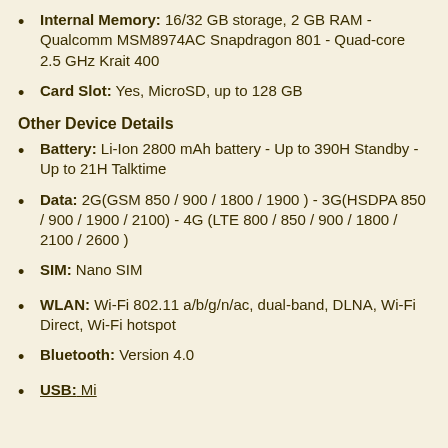Internal Memory: 16/32 GB storage, 2 GB RAM - Qualcomm MSM8974AC Snapdragon 801 - Quad-core 2.5 GHz Krait 400
Card Slot: Yes, MicroSD, up to 128 GB
Other Device Details
Battery: Li-Ion 2800 mAh battery - Up to 390H Standby - Up to 21H Talktime
Data: 2G(GSM 850 / 900 / 1800 / 1900 ) - 3G(HSDPA 850 / 900 / 1900 / 2100) - 4G (LTE 800 / 850 / 900 / 1800 / 2100 / 2600 )
SIM: Nano SIM
WLAN: Wi-Fi 802.11 a/b/g/n/ac, dual-band, DLNA, Wi-Fi Direct, Wi-Fi hotspot
Bluetooth: Version 4.0
USB: Micro USB, 2.0